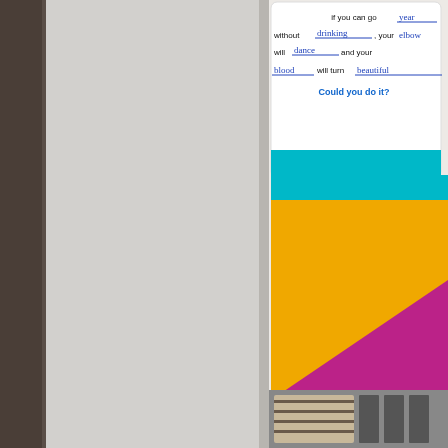[Figure (photo): Card with handwritten fill-in-the-blank text about going a year without drinking, with colored geometric background blocks in yellow, teal, and magenta]
(click the images for a close
AND...MORE LIKE THIS
In our final few hours, we'r which would mean increas more cards!
[Figure (photo): Photo of card filing boxes and card storage system]